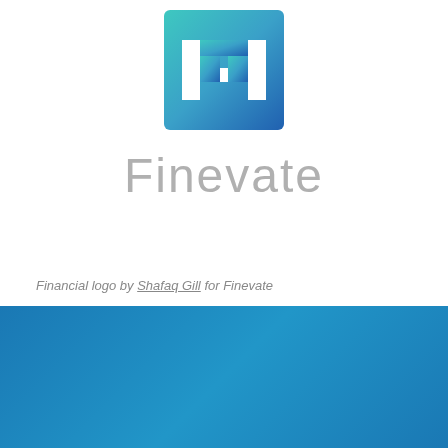[Figure (logo): Finevate financial logo — a square icon with teal-to-blue gradient background and white geometric bar/column shapes resembling stylized bar chart or building]
Finevate
Financial logo by Shafaq Gill for Finevate
[Figure (other): Solid blue gradient rectangular band filling the bottom portion of the page]